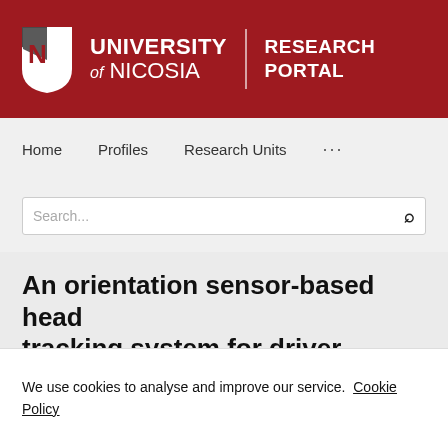[Figure (logo): University of Nicosia Research Portal header banner with shield logo, university name, and Research Portal text on dark red background]
Home   Profiles   Research Units   ...
Search...
An orientation sensor-based head tracking system for driver behaviour monitoring
We use cookies to analyse and improve our service. Cookie Policy